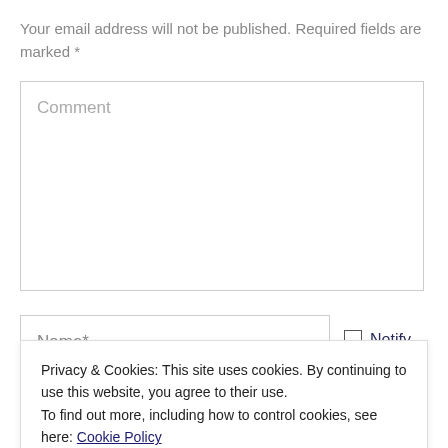Your email address will not be published. Required fields are marked *
Comment
Name*
Notify me of
Privacy & Cookies: This site uses cookies. By continuing to use this website, you agree to their use.
To find out more, including how to control cookies, see here: Cookie Policy
Close and accept
Website
email.